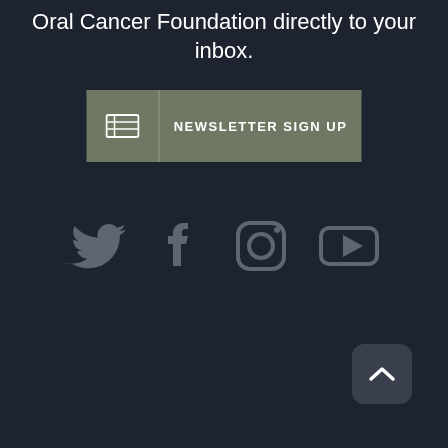Oral Cancer Foundation directly to your inbox.
[Figure (screenshot): Newsletter sign up button with form icon on dark olive/grey background]
[Figure (infographic): Social media icons: Twitter, Facebook, Instagram, YouTube in grey on dark background]
[Figure (other): Back to top button with upward caret chevron]